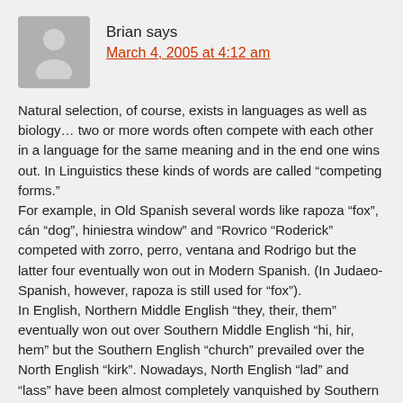Brian says
March 4, 2005 at 4:12 am
Natural selection, of course, exists in languages as well as biology… two or more words often compete with each other in a language for the same meaning and in the end one wins out. In Linguistics these kinds of words are called “competing forms.”
For example, in Old Spanish several words like rapoza “fox”, cán “dog”, hiniestra window” and “Rovrico “Roderick” competed with zorro, perro, ventana and Rodrigo but the latter four eventually won out in Modern Spanish. (In Judaeo-Spanish, however, rapoza is still used for “fox”).
In English, Northern Middle English “they, their, them” eventually won out over Southern Middle English “hi, hir, hem” but the Southern English “church” prevailed over the North English “kirk”. Nowadays, North English “lad” and “lass” have been almost completely vanquished by Southern English boy and girl in both England and America.